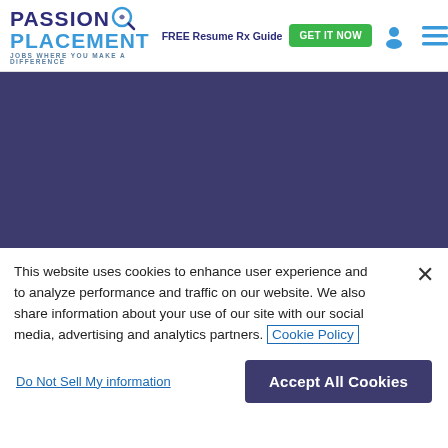[Figure (logo): Passion Placement logo with magnifying glass icon and tagline JOBS WHERE YOU MAKE A DIFFERENCE]
FREE Resume Rx Guide
GET IT NOW
[Figure (illustration): Dark blue/purple banner background area]
This website uses cookies to enhance user experience and to analyze performance and traffic on our website. We also share information about your use of our site with our social media, advertising and analytics partners. Cookie Policy
Do Not Sell My information
Accept All Cookies